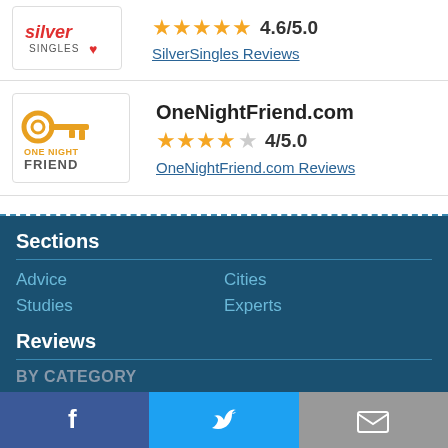[Figure (logo): SilverSingles logo with red italic text and heart icon]
★★★★★ 4.6/5.0
SilverSingles Reviews
[Figure (logo): OneNightFriend logo with golden key icon]
OneNightFriend.com
★★★★☆ 4/5.0
OneNightFriend.com Reviews
Sections
Advice
Cities
Studies
Experts
Reviews
BY CATEGORY